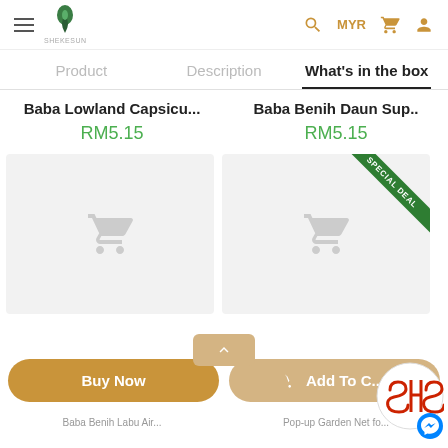Shekesun store header with hamburger menu, logo, search, MYR currency, cart and profile icons
Product | Description | What's in the box
Baba Lowland Capsicu...
RM5.15
Baba Benih Daun Sup..
RM5.15
[Figure (screenshot): Product image placeholder with shopping cart icon for Baba Lowland Capsicu]
[Figure (screenshot): Product image placeholder with shopping cart icon and green SPECIAL DEAL corner badge for Baba Benih Daun Sup]
Buy Now
Add To Cart
Baba Benih Labu Air...
Pop-up Garden Net fo...